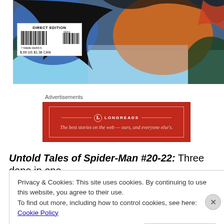[Figure (illustration): Comic book cover art showing Spider-Man and another character in action, with tropical foliage. Includes a barcode label reading 'DIRECT EDITION' with barcode number 7 59606 04255 5 02211 and price $0.99 US $1.38 CAN]
Advertisements
[Figure (infographic): Longreads advertisement banner on red background with white border. Logo circle with L, site name LONGREADS, tagline: The best stories on the web — ours, and everyone else's.]
Untold Tales of Spider-Man #20-22: Three done in one
Privacy & Cookies: This site uses cookies. By continuing to use this website, you agree to their use.
To find out more, including how to control cookies, see here: Cookie Policy
Close and accept